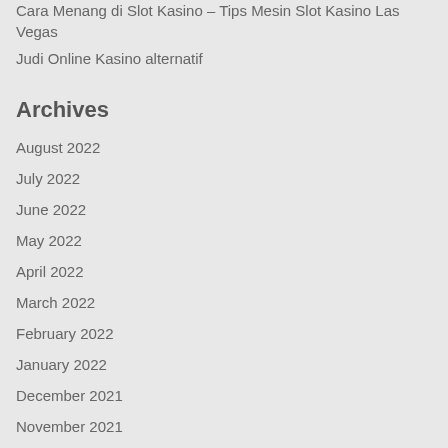Cara Menang di Slot Kasino – Tips Mesin Slot Kasino Las Vegas
Judi Online Kasino alternatif
Archives
August 2022
July 2022
June 2022
May 2022
April 2022
March 2022
February 2022
January 2022
December 2021
November 2021